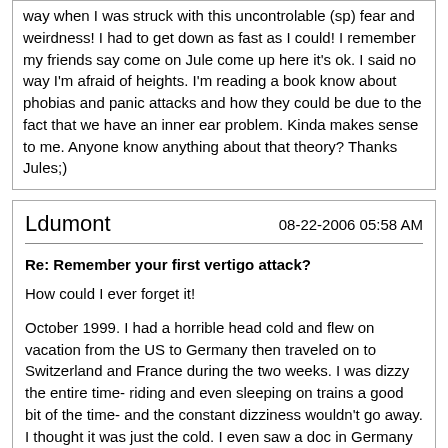way when I was struck with this uncontrolable (sp) fear and weirdness! I had to get down as fast as I could! I remember my friends say come on Jule come up here it's ok. I said no way I'm afraid of heights. I'm reading a book know about phobias and panic attacks and how they could be due to the fact that we have an inner ear problem. Kinda makes sense to me. Anyone know anything about that theory? Thanks Jules;)
Ldumont | 08-22-2006 05:58 AM
Re: Remember your first vertigo attack?
How could I ever forget it!

October 1999. I had a horrible head cold and flew on vacation from the US to Germany then traveled on to Switzerland and France during the two weeks. I was dizzy the entire time- riding and even sleeping on trains a good bit of the time- and the constant dizziness wouldn't go away. I thought it was just the cold. I even saw a doc in Germany who said it was just the cold. I was miserable the entire time and my husband just didn't "get" it. Something was wrong. :dizzy:

The morning after we returned back to the states, I drove my daughter to school thinking the mild dizziness was just the jetlag. I stopped at our Super Target to get a Halloween costume and promptly fell down in the parking lot with what I now know was a drop attack injuring my head, my arm, and breaking my glasses. I'd never been that confused and disoriented, bloody or that bruised in all of my life til that moment. People thought I was drunk or stoned or something to have fallen like